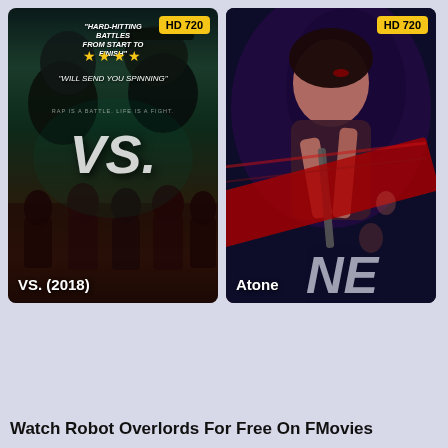[Figure (photo): Movie poster for VS. (2018) with 'Hard-hitting battles from start to finish' tagline, 4 stars, 'Will send you spinning' quote, VS. text overlay, crowd of dancers below, HD 720 badge]
[Figure (photo): Movie poster for Atone showing a woman with injuries holding a weapon, red diagonal bar graphic, blue and red tone color scheme, HD 720 badge]
Watch Robot Overlords For Free On FMovies